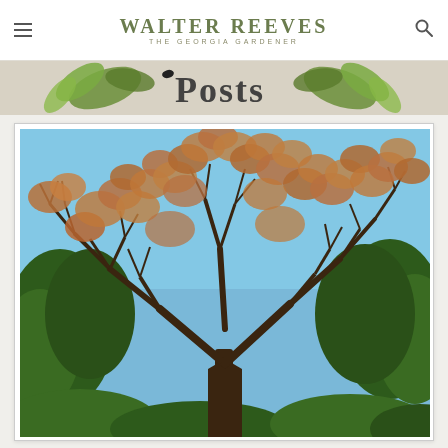Walter Reeves — The Georgia Gardener
[Figure (illustration): Banner strip with decorative leaf motifs and partial text 'Posts' in large font with green leaf decorations on either side]
[Figure (photo): Large deciduous tree with sparse brown/rust autumn foliage and bare branches against a clear blue sky, surrounded by green evergreen shrubs and trees in the background]